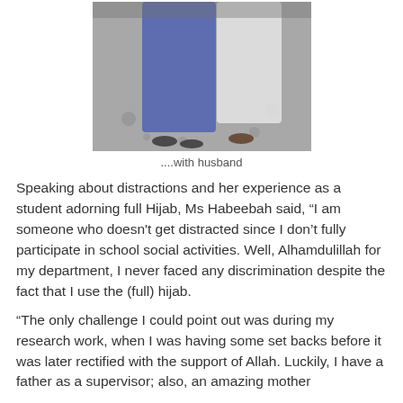[Figure (photo): Two people standing together, one wearing blue/purple clothing and the other in white, photographed from waist down to feet on a grey pavement background.]
....with husband
Speaking about distractions and her experience as a student adorning full Hijab, Ms Habeebah said, “I am someone who doesn’t get distracted since I don’t fully participate in school social activities. Well, Alhamdulillah for my department, I never faced any discrimination despite the fact that I use the (full) hijab.
“The only challenge I could point out was during my research work, when I was having some set backs before it was later rectified with the support of Allah. Luckily, I have a father as a supervisor; also, an amazing mother